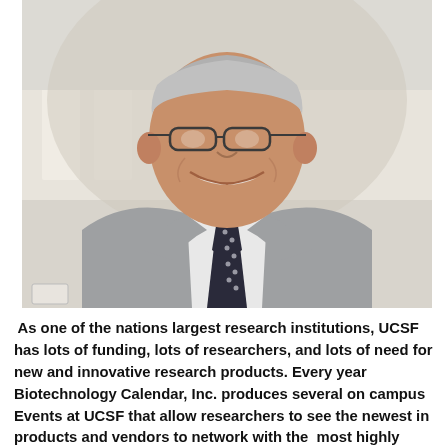[Figure (photo): Portrait photo of an older Asian man with grey hair and glasses, smiling broadly, wearing a grey suit jacket, white dress shirt, and dark patterned tie. He is photographed outdoors in front of what appears to be a building with white columns. The background is soft-focused.]
As one of the nations largest research institutions, UCSF has lots of funding, lots of researchers, and lots of need for new and innovative research products. Every year Biotechnology Calendar, Inc. produces several on campus Events at UCSF that allow researchers to see the newest in products and vendors to network with the most highly funded group of researchers in the nation: